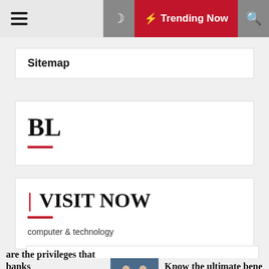Trending Now
Sitemap
BL
| VISIT NOW
computer & technology
are the privileges that banks to their millionaire customers?
Know the ultimate bene getting life insurance p